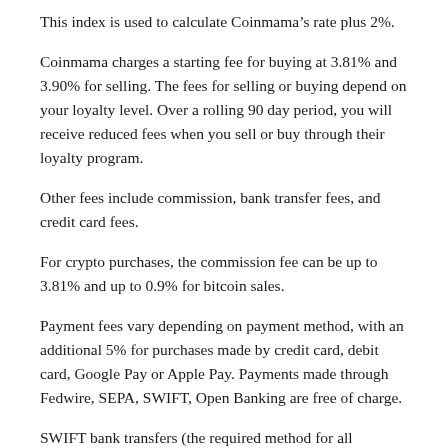This index is used to calculate Coinmama’s rate plus 2%.
Coinmama charges a starting fee for buying at 3.81% and 3.90% for selling. The fees for selling or buying depend on your loyalty level. Over a rolling 90 day period, you will receive reduced fees when you sell or buy through their loyalty program.
Other fees include commission, bank transfer fees, and credit card fees.
For crypto purchases, the commission fee can be up to 3.81% and up to 0.9% for bitcoin sales.
Payment fees vary depending on payment method, with an additional 5% for purchases made by credit card, debit card, Google Pay or Apple Pay. Payments made through Fedwire, SEPA, SWIFT, Open Banking are free of charge.
SWIFT bank transfers (the required method for all transactions